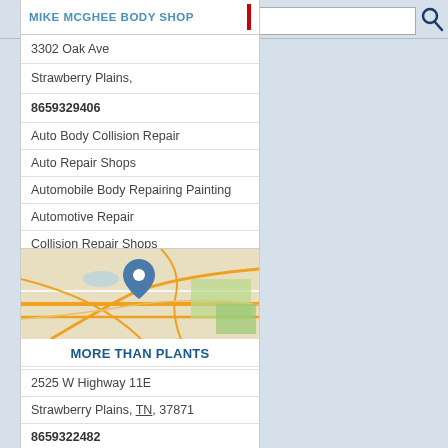MIKE MCGHEE BODY SHOP
3302 Oak Ave
Strawberry Plains,
8659329406
Auto Body Collision Repair
Auto Repair Shops
Automobile Body Repairing Painting
Automotive Repair
Collision Repair Shops
[Figure (map): Street map showing location pin for More Than Plants in Strawberry Plains, TN area]
MORE THAN PLANTS
2525 W Highway 11E
Strawberry Plains, TN, 37871
8659322482
Garden Centers
Holden Nursery
Nurseries Plants Trees
Plant Nursery